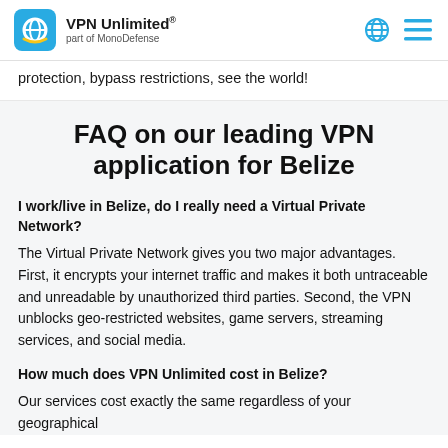VPN Unlimited® part of MonoDefense
protection, bypass restrictions, see the world!
FAQ on our leading VPN application for Belize
I work/live in Belize, do I really need a Virtual Private Network?
The Virtual Private Network gives you two major advantages. First, it encrypts your internet traffic and makes it both untraceable and unreadable by unauthorized third parties. Second, the VPN unblocks geo-restricted websites, game servers, streaming services, and social media.
How much does VPN Unlimited cost in Belize?
Our services cost exactly the same regardless of your geographical